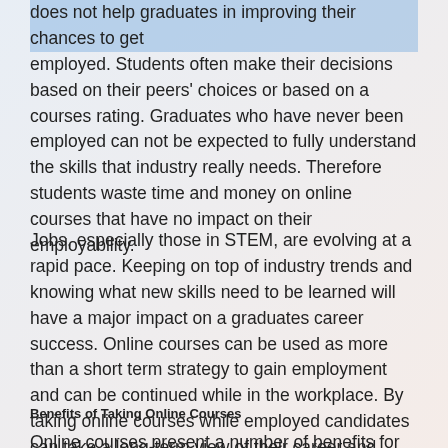does not help graduates in improving their chances to get employed. Students often make their decisions based on their peers' choices or based on a courses rating. Graduates who have never been employed can not be expected to fully understand the skills that industry really needs. Therefore students waste time and money on online courses that have no impact on their employability.
Jobs, especially those in STEM, are evolving at a rapid pace. Keeping on top of industry trends and knowing what new skills need to be learned will have a major impact on a graduates career success. Online courses can be used as more than a short term strategy to gain employment and can be continued while in the workplace. By taking online courses while employed candidates can take a long-term view of their career and develop new skills as they are needed so they never fall behind in the workplace.
Benefits of Taking Online Courses
Online courses present a number of benefits for the...